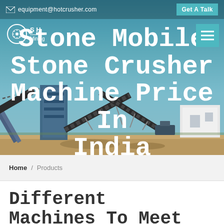equipment@hotcrusher.com   Get A Talk
[Figure (photo): Outdoor industrial stone crusher plant with conveyor belts and machinery against a blue sky background]
Stone Mobile Stone Crusher Machine Price In India
Home / Products
Different Machines To Meet All